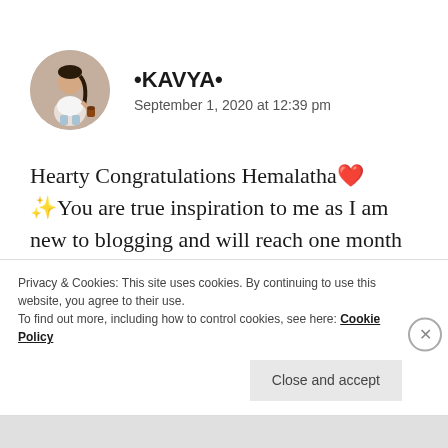[Figure (illustration): Circular avatar showing an illustrated woman in a white outfit carrying a coffee cup, with a beige/tan background circle]
•KAVYA•
September 1, 2020 at 12:39 pm
Hearty Congratulations Hemalatha❤✨You are true inspiration to me as I am new to blogging and will reach one month in 9 days🤗 good luck to you for your growth
Privacy & Cookies: This site uses cookies. By continuing to use this website, you agree to their use.
To find out more, including how to control cookies, see here: Cookie Policy
Close and accept